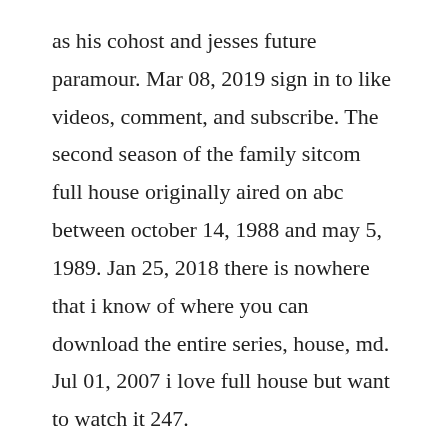as his cohost and jesses future paramour. Mar 08, 2019 sign in to like videos, comment, and subscribe. The second season of the family sitcom full house originally aired on abc between october 14, 1988 and may 5, 1989. Jan 25, 2018 there is nowhere that i know of where you can download the entire series, house, md. Jul 01, 2007 i love full house but want to watch it 247.
Here you can download stranger things all seasons all episodes torrent with english subtitles, yify, kickass, eztv when a young